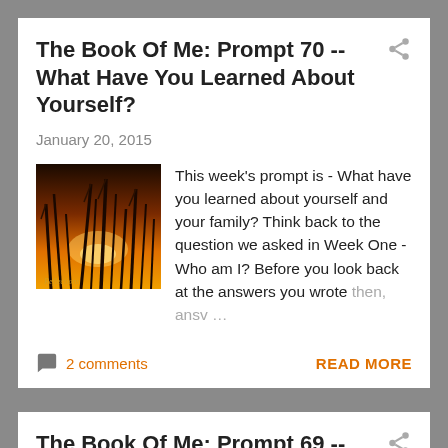The Book Of Me: Prompt 70 --What Have You Learned About Yourself?
January 20, 2015
[Figure (photo): Sunset through tall grass/reeds with warm orange tones, labeled 'Reflections']
This week's prompt is - What have you learned about yourself and your family? Think back to the question we asked in Week One - Who am I? Before you look back at the answers you wrote then, ansv ...
2 comments
READ MORE
The Book Of Me: Prompt 69 --What Is Your Most Treasured Possession?